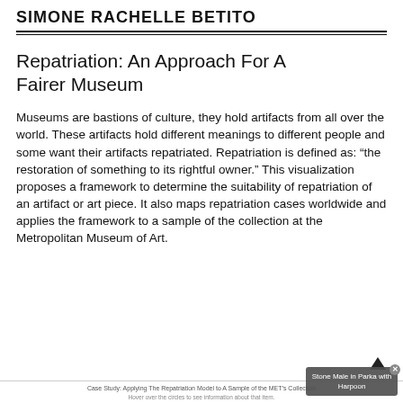SIMONE RACHELLE BETITO
Repatriation: An Approach For A Fairer Museum
Museums are bastions of culture, they hold artifacts from all over the world. These artifacts hold different meanings to different people and some want their artifacts repatriated. Repatriation is defined as: “the restoration of something to its rightful owner.” This visualization proposes a framework to determine the suitability of repatriation of an artifact or art piece. It also maps repatriation cases worldwide and applies the framework to a sample of the collection at the Metropolitan Museum of Art.
Case Study: Applying The Repatriation Model to A Sample of the MET’s Collection